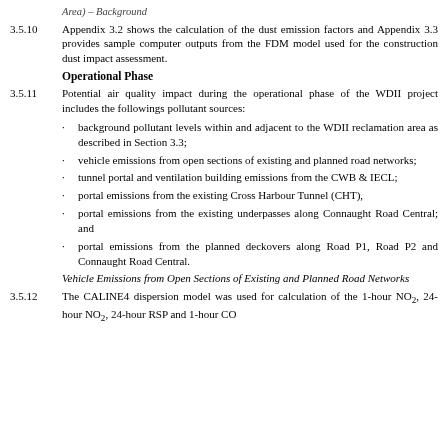3.5.10   Appendix 3.2 shows the calculation of the dust emission factors and Appendix 3.3 provides sample computer outputs from the FDM model used for the construction dust impact assessment.
Operational Phase
3.5.11   Potential air quality impact during the operational phase of the WDII project includes the followings pollutant sources:
background pollutant levels within and adjacent to the WDII reclamation area as described in Section 3.3;
vehicle emissions from open sections of existing and planned road networks;
tunnel portal and ventilation building emissions from the CWB & IECL;
portal emissions from the existing Cross Harbour Tunnel (CHT),
portal emissions from the existing underpasses along Connaught Road Central; and
portal emissions from the planned deckovers along Road P1, Road P2 and Connaught Road Central.
Vehicle Emissions from Open Sections of Existing and Planned Road Networks
3.5.12   The CALINE4 dispersion model was used for calculation of the 1-hour NO₂, 24-hour NO₂, 24-hour RSP and 1-hour CO